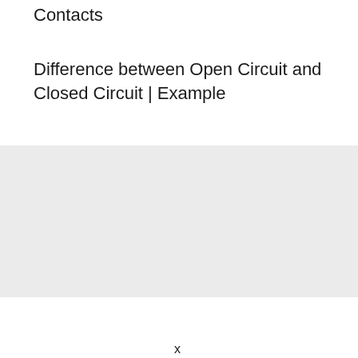Contacts
Difference between Open Circuit and Closed Circuit | Example
[Figure (other): Gray placeholder/advertisement box]
x